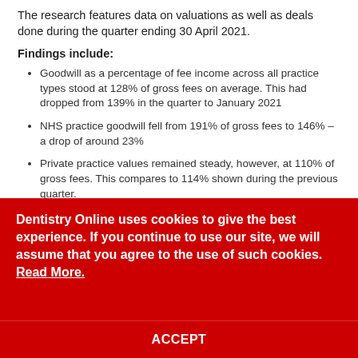The research features data on valuations as well as deals done during the quarter ending 30 April 2021.
Findings include:
Goodwill as a percentage of fee income across all practice types stood at 128% of gross fees on average. This had dropped from 139% in the quarter to January 2021
NHS practice goodwill fell from 191% of gross fees to 146% – a drop of around 23%
Private practice values remained steady, however, at 110% of gross fees. This compares to 114% shown during the previous quarter.
Dentistry Online uses cookies to give the best experience. If you continue to use our site, we will assume that you agree to the use of such cookies. Read More.
ACCEPT